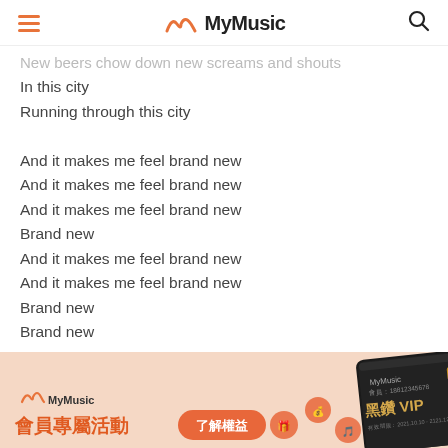MyMusic
New beers chow down new screams and shouts
In this city
Running through this city

And it makes me feel brand new
And it makes me feel brand new
And it makes me feel brand new
Brand new
And it makes me feel brand new
And it makes me feel brand new
Brand new
Brand new

New change of crowns each day I've found
Less pounds in my pocket
More pounds on the scale
In this city
Oh living in this city
[Figure (infographic): MyMusic membership promotion banner with VIP card image, '会員專屬活動' text, '了解權益' button, and decorative icons]